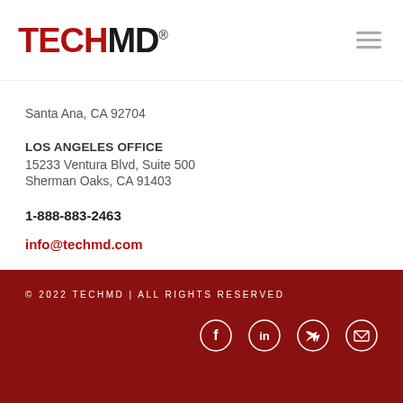[Figure (logo): TechMD logo with TECH in red and MD in black, registered trademark symbol]
Santa Ana, CA 92704
LOS ANGELES OFFICE
15233 Ventura Blvd, Suite 500
Sherman Oaks, CA 91403
1-888-883-2463
info@techmd.com
© 2022 TECHMD | ALL RIGHTS RESERVED